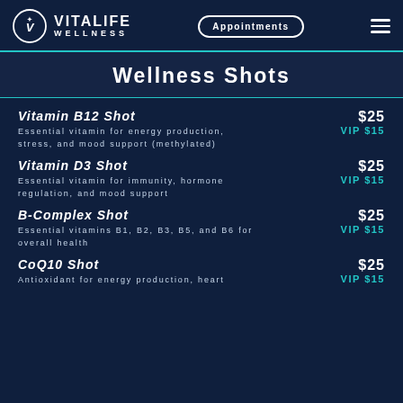VITALIFE WELLNESS | Appointments
Wellness Shots
Vitamin B12 Shot
Essential vitamin for energy production, stress, and mood support (methylated)
$25 VIP $15
Vitamin D3 Shot
Essential vitamin for immunity, hormone regulation, and mood support
$25 VIP $15
B-Complex Shot
Essential vitamins B1, B2, B3, B5, and B6 for overall health
$25 VIP $15
CoQ10 Shot
Antioxidant for energy production, heart
$25 VIP $15